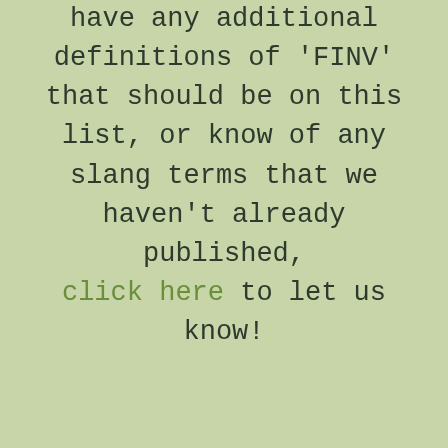have any additional definitions of 'FINV' that should be on this list, or know of any slang terms that we haven't already published, click here to let us know!